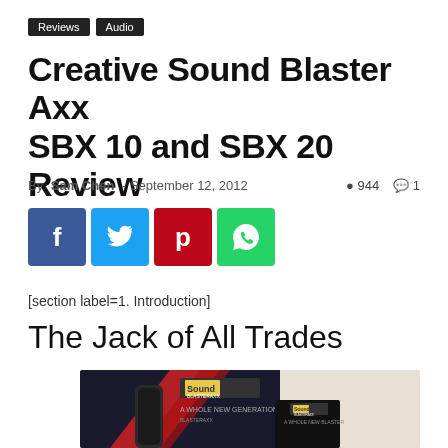Reviews   Audio
Creative Sound Blaster Axx SBX 10 and SBX 20 Review
By Sam Chen - September 12, 2012   944   1
[Figure (other): Social sharing buttons: Facebook (blue), Twitter (light blue), Pinterest (red), WhatsApp (green)]
[section label=1. Introduction]
The Jack of All Trades
[Figure (photo): Product photo of Creative Sound Blaster Axx speaker boxes with branding visible, dark background with red accents on packaging]